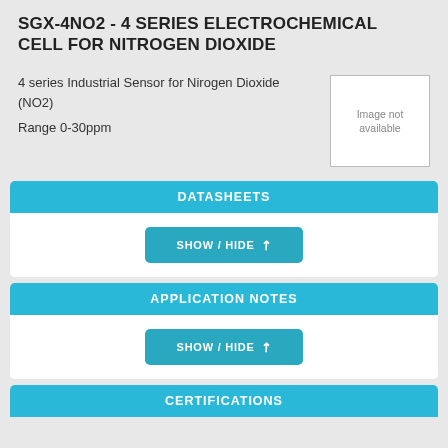SGX-4NO2 - 4 SERIES ELECTROCHEMICAL CELL FOR NITROGEN DIOXIDE
4 series Industrial Sensor for Nirogen Dioxide (NO2)

Range 0-30ppm
[Figure (other): Image not available placeholder box]
DATASHEETS
SHOW / HIDE
APPLICATION NOTES
SHOW / HIDE
CERTIFICATIONS